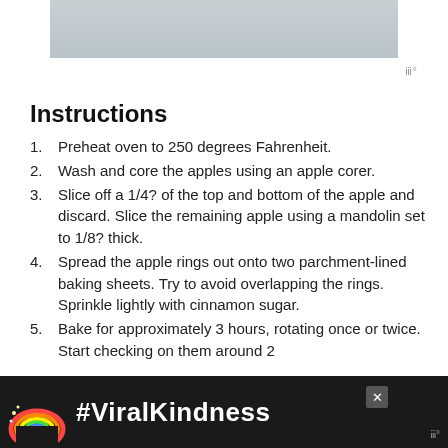[Figure (photo): Partial photo of hands/apples in water or bowl, cropped at top of page]
Instructions
Preheat oven to 250 degrees Fahrenheit.
Wash and core the apples using an apple corer.
Slice off a 1/4? of the top and bottom of the apple and discard. Slice the remaining apple using a mandolin set to 1/8? thick.
Spread the apple rings out onto two parchment-lined baking sheets. Try to avoid overlapping the rings. Sprinkle lightly with cinnamon sugar.
Bake for approximately 3 hours, rotating once or twice. Start checking on them around 2
[Figure (photo): Advertisement banner: rainbow illustration with #ViralKindness text on dark background]